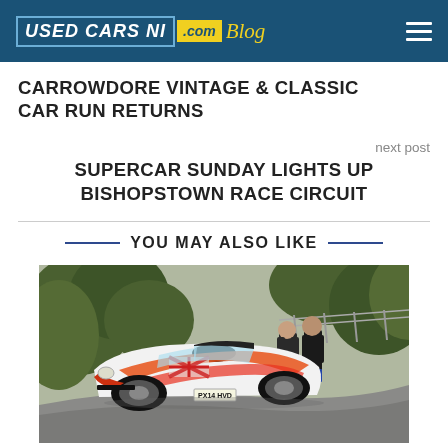USED CARS NI .com Blog
CARROWDORE VINTAGE & CLASSIC CAR RUN RETURNS
next post
SUPERCAR SUNDAY LIGHTS UP BISHOPSTOWN RACE CIRCUIT
YOU MAY ALSO LIKE
[Figure (photo): A white and red rally car (Ford Fiesta with plate PX14 HVD) navigating a narrow road with two spectators standing in the background near a fence and trees.]